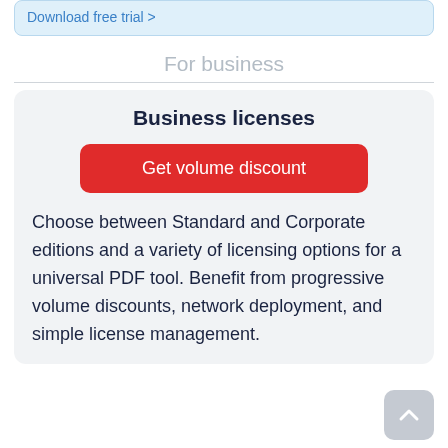Download free trial >
For business
Business licenses
Get volume discount
Choose between Standard and Corporate editions and a variety of licensing options for a universal PDF tool. Benefit from progressive volume discounts, network deployment, and simple license management.